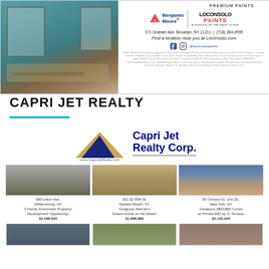[Figure (photo): Benjamin Moore / Loconsolo Paints advertisement with interior room photo, logos, address, and social media]
CAPRI JET REALTY
[Figure (infographic): Capri Jet Realty Corp advertisement with logo and property listings including 390 Union Ave Williamsburg NY, 161-32 95th St Howard Beach NY, and 50 Orchard St Unit 2D New York NY]